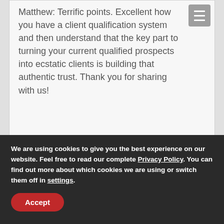Matthew: Terrific points. Excellent how you have a client qualification system and then understand that the key part to turning your current qualified prospects into ecstatic clients is building that authentic trust. Thank you for sharing with us!
Reply
We are using cookies to give you the best experience on our website. Feel free to read our complete Privacy Policy. You can find out more about which cookies we are using or switch them off in settings.
Accept